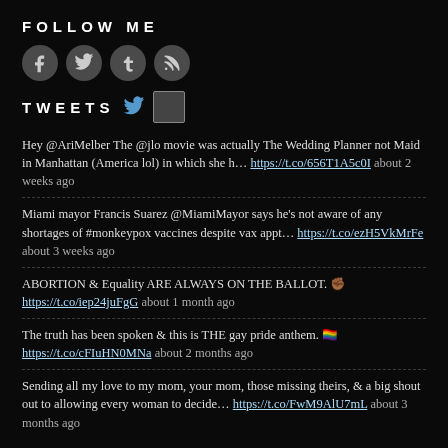FOLLOW ME
[Figure (illustration): Four social media icon circles: Facebook (f), Twitter (t bird), Tumblr (t), RSS feed icon]
TWEETS
Hey @AriMelber The @jlo movie was actually The Wedding Planner not Maid in Manhattan (America lol) in which she h… https://t.co/656T1A5c0I about 2 weeks ago
Miami mayor Francis Suarez @MiamiMayor says he's not aware of any shortages of #monkeypox vaccines despite vax appt… https://t.co/ezH5VkMrFe about 3 weeks ago
ABORTION & Equality ARE ALWAYS ON THE BALLOT. ✊🏾 https://t.co/iep24juFgG about 1 month ago
The truth has been spoken & this is THE gay pride anthem. 🏳️‍🌈 https://t.co/cFIuHN0MNa about 2 months ago
Sending all my love to my mom, your mom, those missing theirs, & a big shout out to allowing every woman to decide… https://t.co/FwM9AlU7mL about 3 months ago